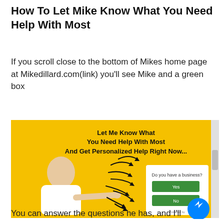How To Let Mike Know What You Need Help With Most
If you scroll close to the bottom of Mikes home page at Mikedillard.com(link) you'll see Mike and a green box
[Figure (screenshot): Screenshot of Mike Dillard's website showing a yellow/gold background with text 'Let Me Know What You Need Help With Most And Get Personalized Help Right Now...' alongside a photo of a man pointing and a quiz widget asking 'Do you have a business?' with Yes/No green buttons. A blue Facebook Messenger chat icon is in the bottom right corner.]
You can answer the questions he has, and I'll